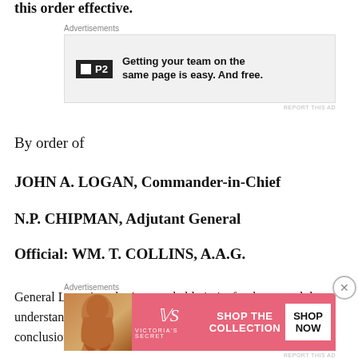this order effective.
[Figure (other): Advertisement banner for P2 - 'Getting your team on the same page is easy. And free.']
By order of
JOHN A. LOGAN, Commander-in-Chief
N.P. CHIPMAN, Adjutant General
Official: WM. T. COLLINS, A.A.G.
General Logan's order is remarkable in its frankness and the understanding of the war in the immediate context of its conclusion. In 1868 the day would be observed at 183
[Figure (other): Advertisement banner for Victoria's Secret - 'Shop The Collection' with Shop Now button]